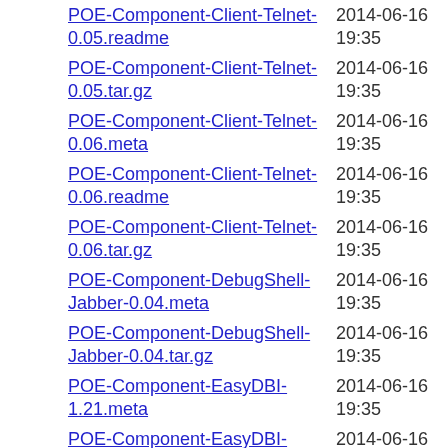POE-Component-Client-Telnet-0.05.readme | 2014-06-16 19:35 | 458
POE-Component-Client-Telnet-0.05.tar.gz | 2014-06-16 19:35 | 6.5K
POE-Component-Client-Telnet-0.06.meta | 2014-06-16 19:35 | 526
POE-Component-Client-Telnet-0.06.readme | 2014-06-16 19:35 | 462
POE-Component-Client-Telnet-0.06.tar.gz | 2014-06-16 19:35 | 6.5K
POE-Component-DebugShell-Jabber-0.04.meta | 2014-06-16 19:35 | 502
POE-Component-DebugShell-Jabber-0.04.tar.gz | 2014-06-16 19:35 | 7.0K
POE-Component-EasyDBI-1.21.meta | 2014-06-16 19:35 | 557
POE-Component-EasyDBI-1.21.readme | 2014-06-16 19:35 | 892
POE-Component-EasyDBI-1.21.tar.gz | 2014-06-16 19:35 | 35K
POE-Component-EasyDBI-1.22.meta | 2014-06-16 19:35 | 557
POE-Component-EasyDBI- | 2014-06-16 | (partial)